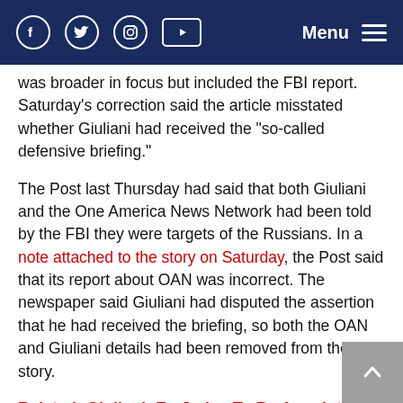Facebook Twitter Instagram YouTube | Menu
was broader in focus but included the FBI report. Saturday's correction said the article misstated whether Giuliani had received the “so-called defensive briefing.”
The Post last Thursday had said that both Giuliani and the One America News Network had been told by the FBI they were targets of the Russians. In a note attached to the story on Saturday, the Post said that its report about OAN was incorrect. The newspaper said Giuliani had disputed the assertion that he had received the briefing, so both the OAN and Giuliani details had been removed from their story.
Related: Giuliani: Ex-Judge To Be Appointed In Review Of Raid